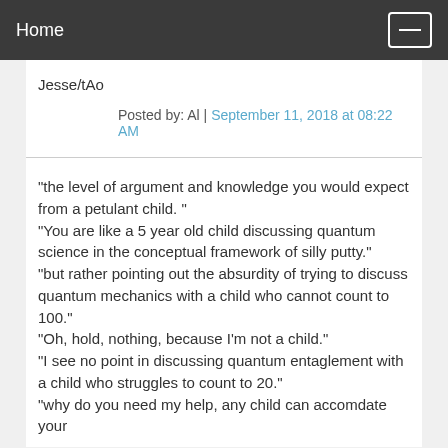Home
Jesse/tAo
Posted by: Al | September 11, 2018 at 08:22 AM
"the level of argument and knowledge you would expect from a petulant child. "
"You are like a 5 year old child discussing quantum science in the conceptual framework of silly putty."
"but rather pointing out the absurdity of trying to discuss quantum mechanics with a child who cannot count to 100."
"Oh, hold, nothing, because I'm not a child."
"I see no point in discussing quantum entaglement with a child who struggles to count to 20."
"why do you need my help, any child can accomdate your